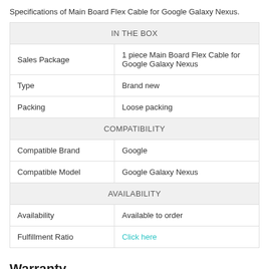Specifications of Main Board Flex Cable for Google Galaxy Nexus.
| IN THE BOX |  |
| Sales Package | 1 piece Main Board Flex Cable for Google Galaxy Nexus |
| Type | Brand new |
| Packing | Loose packing |
| COMPATIBILITY |  |
| Compatible Brand | Google |
| Compatible Model | Google Galaxy Nexus |
| AVAILABILITY |  |
| Availability | Available to order |
| Fulfillment Ratio | Click here |
Warranty